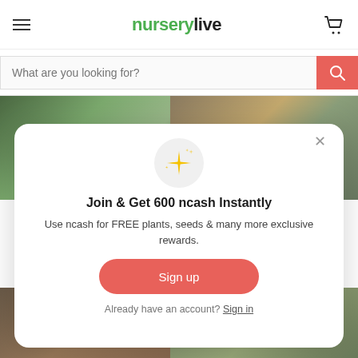nurserylive
What are you looking for?
[Figure (screenshot): Blurred background showing potted plants and garden items in two split panels]
Join & Get 600 ncash Instantly
Use ncash for FREE plants, seeds & many more exclusive rewards.
Sign up
Already have an account? Sign in